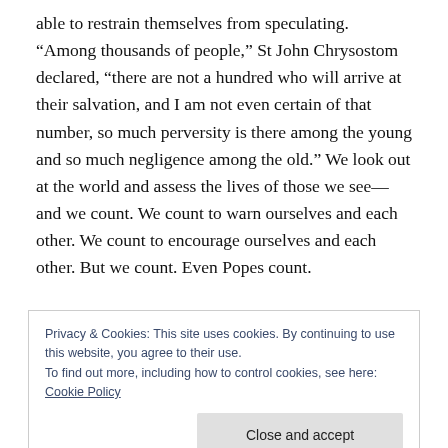able to restrain themselves from speculating. “Among thousands of people,” St John Chrysostom declared, “there are not a hundred who will arrive at their salvation, and I am not even certain of that number, so much perversity is there among the young and so much negligence among the old.” We look out at the world and assess the lives of those we see—and we count. We count to warn ourselves and each other. We count to encourage ourselves and each other. But we count. Even Popes count.
Privacy & Cookies: This site uses cookies. By continuing to use this website, you agree to their use.
To find out more, including how to control cookies, see here: Cookie Policy
Close and accept
all know ther the theory document the that the people count the